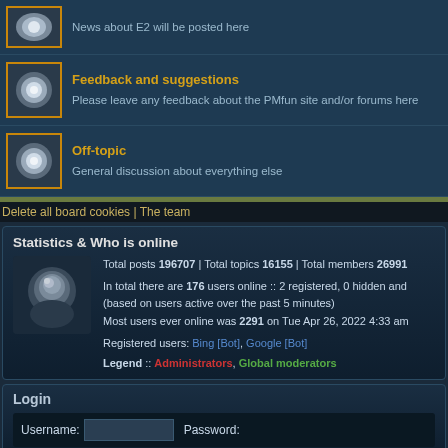News about E2 will be posted here
Feedback and suggestions
Please leave any feedback about the PMfun site and/or forums here
Off-topic
General discussion about everything else
Delete all board cookies | The team
Statistics & Who is online
Total posts 196707 | Total topics 16155 | Total members 26991
In total there are 176 users online :: 2 registered, 0 hidden and (based on users active over the past 5 minutes) Most users ever online was 2291 on Tue Apr 26, 2022 4:33 am
Registered users: Bing [Bot], Google [Bot]
Legend :: Administrators, Global moderators
Login
Username: Password: